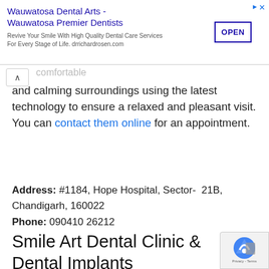[Figure (screenshot): Advertisement banner for Wauwatosa Dental Arts - Wauwatosa Premier Dentists with OPEN button]
and calming surroundings using the latest technology to ensure a relaxed and pleasant visit. You can contact them online for an appointment.
Address: #1184, Hope Hospital, Sector- 21B, Chandigarh, 160022
Phone: 090410 26212
Smile Art Dental Clinic & Dental Implants
SMILE ART has the best Dentist in Chandigarh